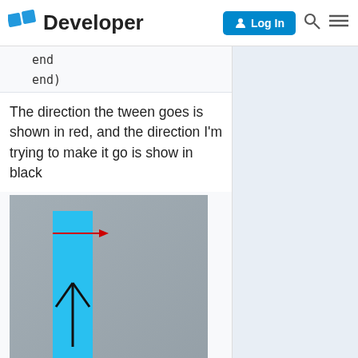Developer — Log In
end
end)
The direction the tween goes is shown in red, and the direction I'm trying to make it go is show in black
[Figure (screenshot): Screenshot showing a gray background with a blue vertical rectangle. A red horizontal arrow points right from the top of the rectangle, and a black upward arrow is shown in the lower half of the rectangle.]